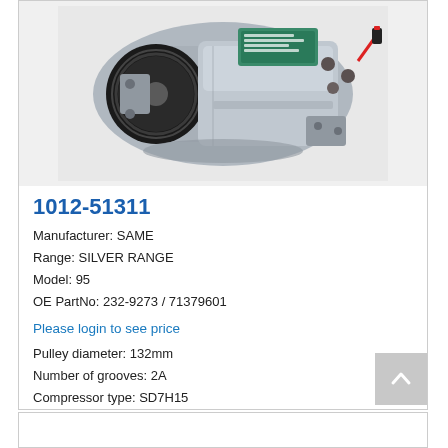[Figure (photo): AC compressor unit (SD7H15 type) with black pulley, teal/green label, red wire connector, and mounting flanges. Silver/grey metal body.]
1012-51311
Manufacturer: SAME
Range: SILVER RANGE
Model: 95
OE PartNo: 232-9273 / 71379601
Please login to see price
Pulley diameter: 132mm
Number of grooves: 2A
Compressor type: SD7H15
Voltage: 12V
Fittings: TE-TO